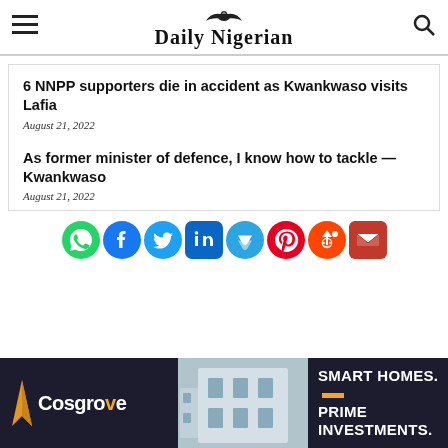Daily Nigerian
6 NNPP supporters die in accident as Kwankwaso visits Lafia
August 21, 2022
As former minister of defence, I know how to tackle — Kwankwaso
August 21, 2022
[Figure (infographic): Social media share icons row: WhatsApp (green), Facebook (blue), Twitter (blue), LinkedIn (dark blue), Telegram (blue), Pinterest (red), Reddit (orange-red), Email (red)]
[Figure (infographic): Cosgrove real estate advertisement banner with logo, building photo, and text: SMART HOMES. PRIME INVESTMENTS.]